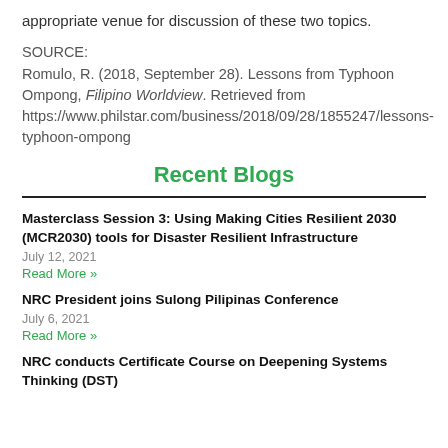appropriate venue for discussion of these two topics.
SOURCE:
Romulo, R. (2018, September 28). Lessons from Typhoon Ompong, Filipino Worldview. Retrieved from https://www.philstar.com/business/2018/09/28/1855247/lessons-typhoon-ompong
Recent Blogs
Masterclass Session 3: Using Making Cities Resilient 2030 (MCR2030) tools for Disaster Resilient Infrastructure
July 12, 2021
Read More »
NRC President joins Sulong Pilipinas Conference
July 6, 2021
Read More »
NRC conducts Certificate Course on Deepening Systems Thinking (DST)